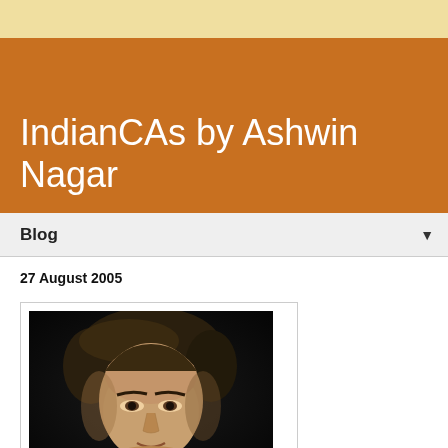IndianCAs by Ashwin Nagar
Blog
27 August 2005
[Figure (photo): Portrait photograph of a man with dark hair, dark background, showing face and upper body]